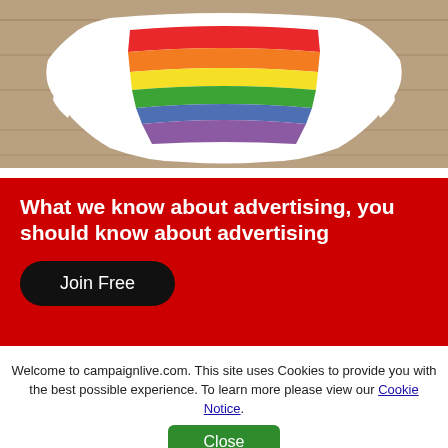[Figure (photo): Rainbow-striped bikini bottom laid flat on a wooden surface]
What we know about advertising, you should know about advertising
Join Free
Welcome to campaignlive.com. This site uses Cookies to provide you with the best possible experience. To learn more please view our Cookie Notice.
Close
reflect the community around us – in the UK, one in 50 people consider themselves...